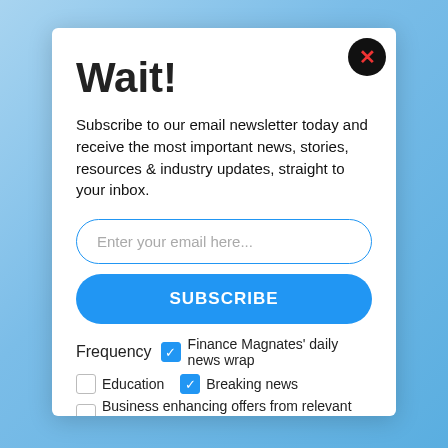Wait!
Subscribe to our email newsletter today and receive the most important news, stories, resources & industry updates, straight to your inbox.
Enter your email here...
SUBSCRIBE
Frequency ✓ Finance Magnates' daily news wrap
Education
✓ Breaking news
Business enhancing offers from relevant providers